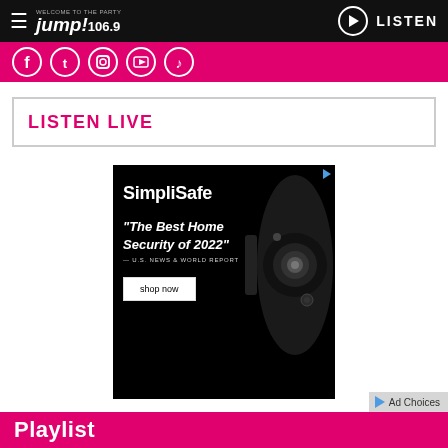jump! 106.9 — WELCOME TO THE PARTY | LISTEN
[Figure (screenshot): Pink social media icons bar: Facebook, Twitter, Instagram, YouTube, TikTok]
LISTEN LIVE
[Figure (screenshot): SimpliSafe advertisement: black background with security camera. Text: SimpliSafe — The Best Home Security of 2022 — U.S. News & World Report. Button: shop now]
Playlist
Ad Choices